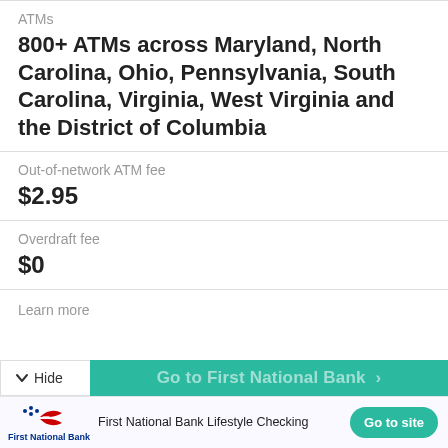ATMs
800+ ATMs across Maryland, North Carolina, Ohio, Pennsylvania, South Carolina, Virginia, West Virginia and the District of Columbia
Out-of-network ATM fee
$2.95
Overdraft fee
$0
Learn more
First National Bank Lifestyle Checking
Go to site